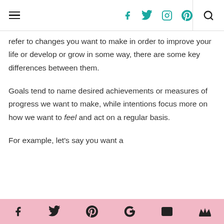Navigation bar with hamburger menu, social icons (Facebook, Twitter, Instagram, Pinterest), and search icon
refer to changes you want to make in order to improve your life or develop or grow in some way, there are some key differences between them.
Goals tend to name desired achievements or measures of progress we want to make, while intentions focus more on how we want to feel and act on a regular basis.
For example, let's say you want a
Social share bar with Facebook, Twitter, Pinterest, Google+, Email, and Crown icons